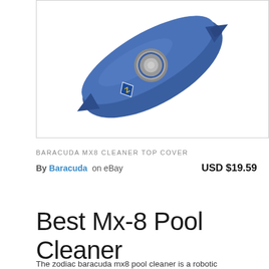[Figure (photo): Blue Baracuda MX8 pool cleaner top cover, oval-shaped blue plastic with a metallic connector on top and a Zodiac logo badge (blue diamond with yellow Z), photographed on white background]
BARACUDA MX8 CLEANER TOP COVER
By Baracuda on eBay   USD $19.59
Best Mx-8 Pool Cleaner Comparison
The zodiac baracuda mx8 pool cleaner is a robotic